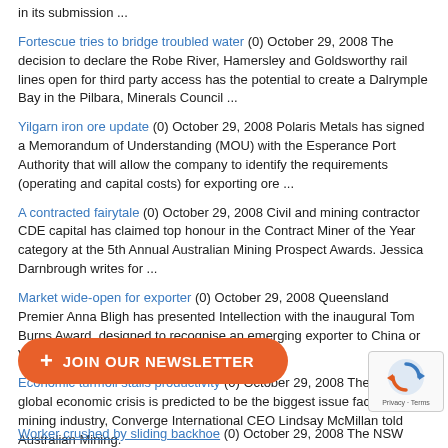in its submission ...
Fortescue tries to bridge troubled water (0) October 29, 2008 The decision to declare the Robe River, Hamersley and Goldsworthy rail lines open for third party access has the potential to create a Dalrymple Bay in the Pilbara, Minerals Council ...
Yilgarn iron ore update (0) October 29, 2008 Polaris Metals has signed a Memorandum of Understanding (MOU) with the Esperance Port Authority that will allow the company to identify the requirements (operating and capital costs) for exporting ore ...
A contracted fairytale (0) October 29, 2008 Civil and mining contractor CDE capital has claimed top honour in the Contract Miner of the Year category at the 5th Annual Australian Mining Prospect Awards. Jessica Darnbrough writes for ...
Market wide-open for exporter (0) October 29, 2008 Queensland Premier Anna Bligh has presented Intellection with the inaugural Tom Burns Award, designed to recognise an emerging exporter to China or Vietnam.
Economic turmoil stalls productivity (0) October 29, 2008 The current global economic crisis is predicted to be the biggest issue facing the mining industry, Converge International CEO Lindsay McMillan told Australian Mining.
Contract win for Kooragang terminal (0) October 29, 2008 Mining and ... tracted by the New ... coal export termin... Kooragang Island as part of a $1 billion ...
Worker crushed by sliding backhoe (0) October 29, 2008 The NSW ...